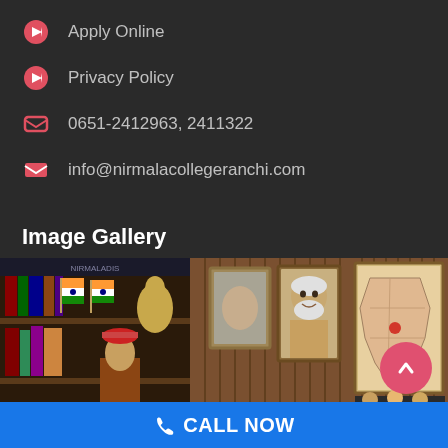Apply Online
Privacy Policy
0651-2412963, 2411322
info@nirmalacollegeranchi.com
Image Gallery
[Figure (photo): Image gallery showing an office interior with Indian flags, a framed portrait of a person, and a framed map on the wall. Multiple photos arranged side by side.]
CALL NOW